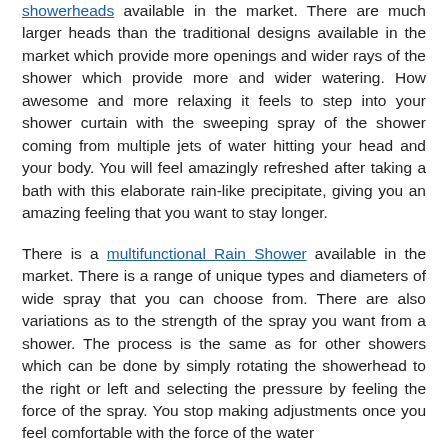showerheads available in the market. There are much larger heads than the traditional designs available in the market which provide more openings and wider rays of the shower which provide more and wider watering. How awesome and more relaxing it feels to step into your shower curtain with the sweeping spray of the shower coming from multiple jets of water hitting your head and your body. You will feel amazingly refreshed after taking a bath with this elaborate rain-like precipitate, giving you an amazing feeling that you want to stay longer.
There is a multifunctional Rain Shower available in the market. There is a range of unique types and diameters of wide spray that you can choose from. There are also variations as to the strength of the spray you want from a shower. The process is the same as for other showers which can be done by simply rotating the showerhead to the right or left and selecting the pressure by feeling the force of the spray. You stop making adjustments once you feel comfortable with the force of the water